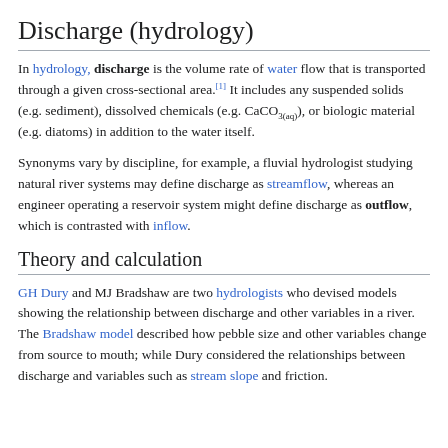Discharge (hydrology)
In hydrology, discharge is the volume rate of water flow that is transported through a given cross-sectional area.[1] It includes any suspended solids (e.g. sediment), dissolved chemicals (e.g. CaCO3(aq)), or biologic material (e.g. diatoms) in addition to the water itself.
Synonyms vary by discipline, for example, a fluvial hydrologist studying natural river systems may define discharge as streamflow, whereas an engineer operating a reservoir system might define discharge as outflow, which is contrasted with inflow.
Theory and calculation
GH Dury and MJ Bradshaw are two hydrologists who devised models showing the relationship between discharge and other variables in a river. The Bradshaw model described how pebble size and other variables change from source to mouth; while Dury considered the relationships between discharge and variables such as stream slope and friction.